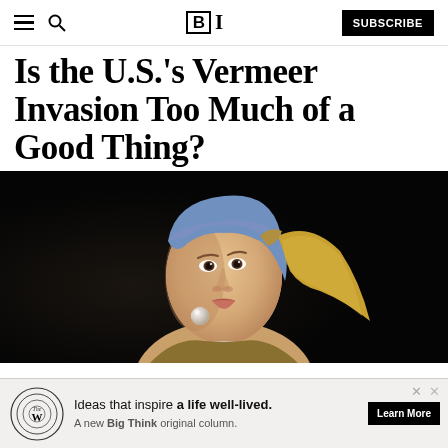BT — Big Think — SUBSCRIBE
Is the U.S.'s Vermeer Invasion Too Much of a Good Thing?
[Figure (photo): Vermeer's Girl with a Pearl Earring painting — young woman with blue and yellow head covering, pearl earring, looking over her shoulder against a dark background]
[Figure (infographic): Ad banner: The Well logo with concentric circles, text reading 'Ideas that inspire a life well-lived. A new Big Think original column.' with Learn More button]